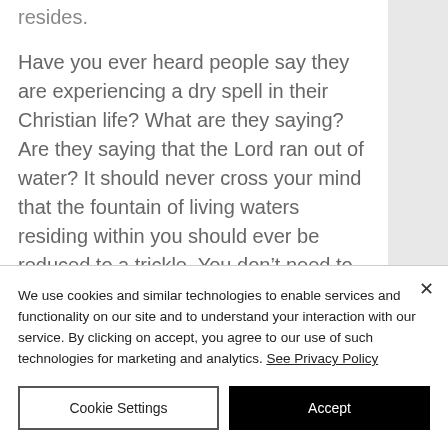resides.
Have you ever heard people say they are experiencing a dry spell in their Christian life? What are they saying? Are they saying that the Lord ran out of water? It should never cross your mind that the fountain of living waters residing within you should ever be reduced to a trickle. You don't need to run all over the country
We use cookies and similar technologies to enable services and functionality on our site and to understand your interaction with our service. By clicking on accept, you agree to our use of such technologies for marketing and analytics. See Privacy Policy
Cookie Settings
Accept